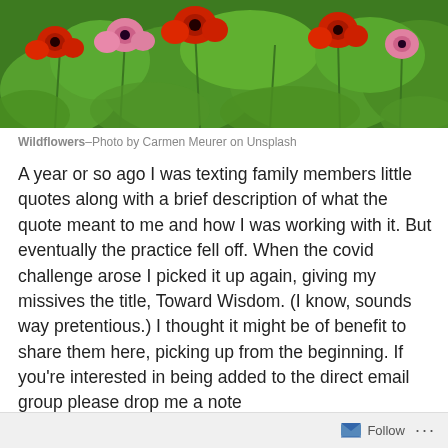[Figure (photo): Wildflowers field with red and pink poppies and green foliage, cropped top photo]
Wildflowers–Photo by Carmen Meurer on Unsplash
A year or so ago I was texting family members little quotes along with a brief description of what the quote meant to me and how I was working with it. But eventually the practice fell off. When the covid challenge arose I picked it up again, giving my missives the title, Toward Wisdom. (I know, sounds way pretentious.) I thought it might be of benefit to share them here, picking up from the beginning. If you're interested in being added to the direct email group please drop me a note (BrunsDP@protonmnail.com), otherwise they will pop up here on occasion.
Follow